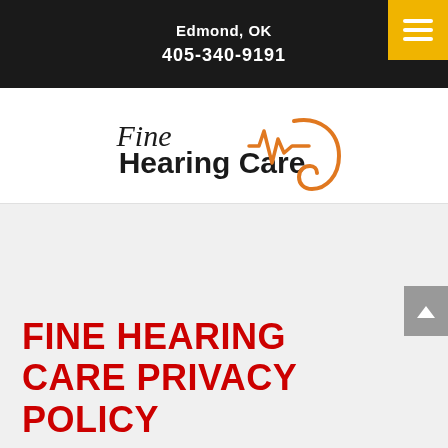Edmond, OK
405-340-9191
[Figure (logo): Fine Hearing Care logo with cursive 'Fine' text, bold 'Hearing Care' text, and an orange heartbeat/ear graphic]
FINE HEARING CARE PRIVACY POLICY